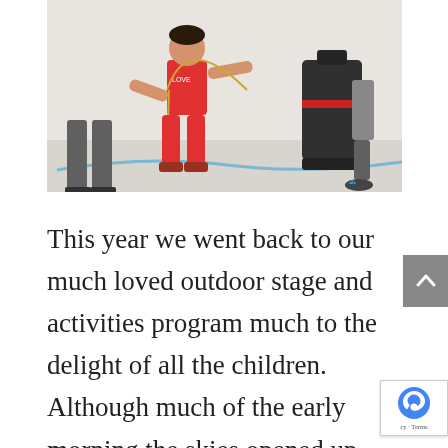[Figure (photo): A child in a red outfit jumping rope indoors, with other people and a black piece of equipment visible in the background.]
This year we went back to our much loved outdoor stage and activities program much to the delight of all the children. Although much of the early morning the skies opened up with heavy rain, we resisted to move the event indoors and thank God that most of the event stayed rain-free. Although not a perfect sunny day, we did not cancel any part of our program, including guest VIPs from local councillors and